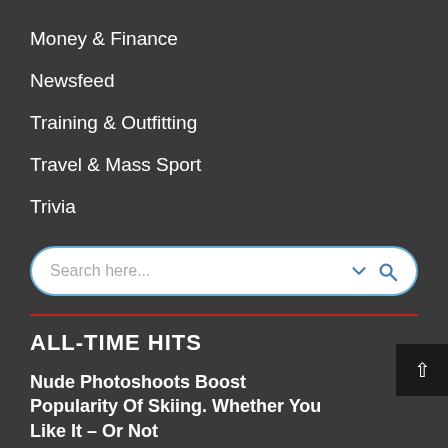Money & Finance
Newsfeed
Training & Outfitting
Travel & Mass Sport
Trivia
[Figure (other): Search input box with placeholder text 'Search here...' and chevron + magnifying glass icons]
ALL-TIME HITS
Nude Photoshoots Boost Popularity Of Skiing. Whether You Like It – Or Not
Review: Best Ski Boots For Skating Right Now.